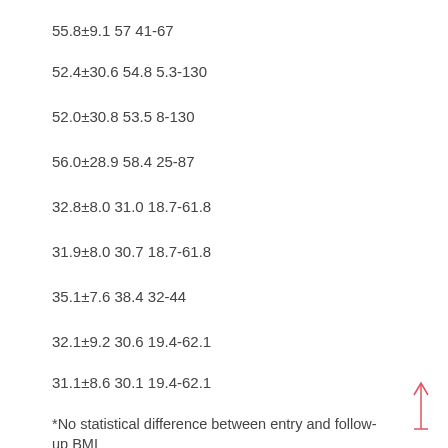55.8±9.1 57 41-67
52.4±30.6 54.8 5.3-130
52.0±30.8 53.5 8-130
56.0±28.9 58.4 25-87
32.8±8.0 31.0 18.7-61.8
31.9±8.0 30.7 18.7-61.8
35.1±7.6 38.4 32-44
32.1±9.2 30.6 19.4-62.1
31.1±8.6 30.1 19.4-62.1
34.9±8.1 38.1 31.1-44.3
*No statistical difference between entry and follow-up BMI